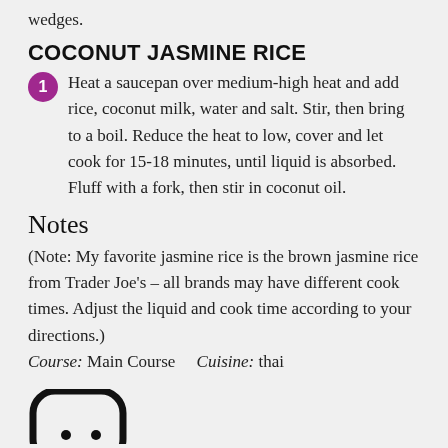wedges.
COCONUT JASMINE RICE
Heat a saucepan over medium-high heat and add rice, coconut milk, water and salt. Stir, then bring to a boil. Reduce the heat to low, cover and let cook for 15-18 minutes, until liquid is absorbed. Fluff with a fork, then stir in coconut oil.
Notes
(Note: My favorite jasmine rice is the brown jasmine rice from Trader Joe’s – all brands may have different cook times. Adjust the liquid and cook time according to your directions.)
Course: Main Course    Cuisine: thai
[Figure (logo): Partial view of a logo icon at the bottom of the page]